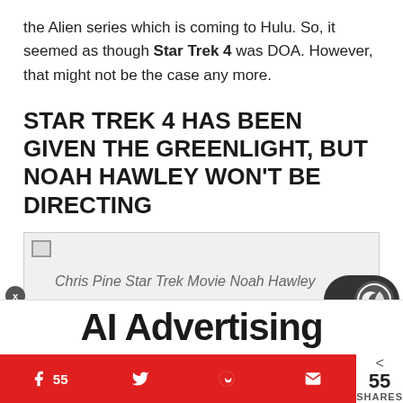the Alien series which is coming to Hulu. So, it seemed as though Star Trek 4 was DOA. However, that might not be the case any more.
STAR TREK 4 HAS BEEN GIVEN THE GREENLIGHT, BUT NOAH HAWLEY WON'T BE DIRECTING
[Figure (photo): Chris Pine Star Trek Movie Noah Hawley. Credit: Paramount Pictures]
Credit: Paramount Pictures